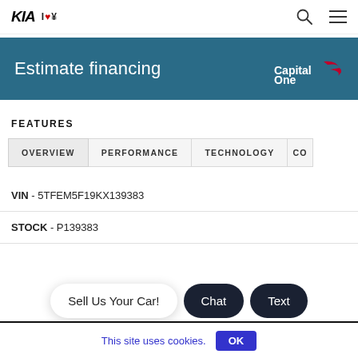KIA | I♥¥
Estimate financing
[Figure (logo): Capital One logo in white on teal background]
FEATURES
OVERVIEW | PERFORMANCE | TECHNOLOGY | CO
VIN - 5TFEM5F19KX139383
STOCK - P139383
Sell Us Your Car! | Chat | Text
This site uses cookies. OK